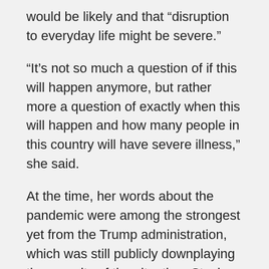would be likely and that “disruption to everyday life might be severe.”
“It’s not so much a question of if this will happen anymore, but rather more a question of exactly when this will happen and how many people in this country will have severe illness,” she said.
At the time, her words about the pandemic were among the strongest yet from the Trump administration, which was still publicly downplaying the severity of the situation. Stocks tumbled. The Wall Street Journal later reported that then-President Donald Trump threatened to fire Messonnier shortly afterward.
The next day, Trump announced he was putting the vice president in charge of the government’s response and famously predicted that what were then 15 reported cases